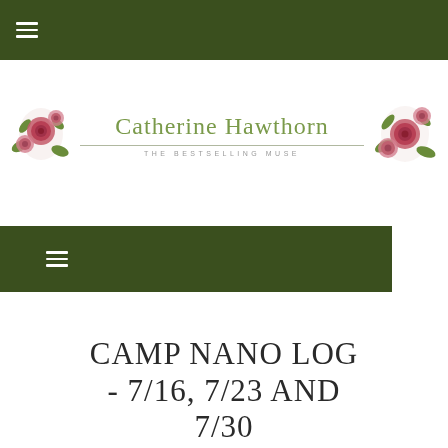☰ (hamburger menu icon)
[Figure (logo): Catherine Hawthorn brand logo with floral decorations on both sides, tagline 'THE BESTSELLING MUSE']
☰ (hamburger menu icon, dark green navigation bar)
CAMP NANO LOG - 7/16, 7/23 AND 7/30